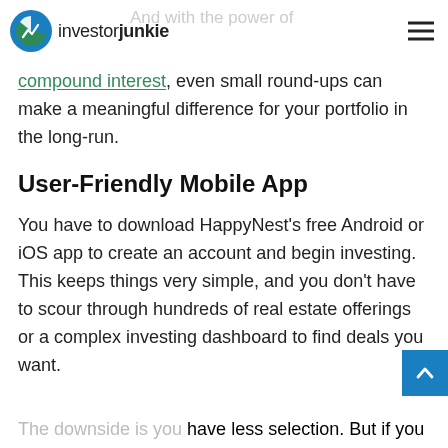investorjunkie
compound interest, even small round-ups can make a meaningful difference for your portfolio in the long-run.
User-Friendly Mobile App
You have to download HappyNest's free Android or iOS app to create an account and begin investing. This keeps things very simple, and you don't have to scour through hundreds of real estate offerings or a complex investing dashboard to find deals you want.
The downside is you have less selection. But if you